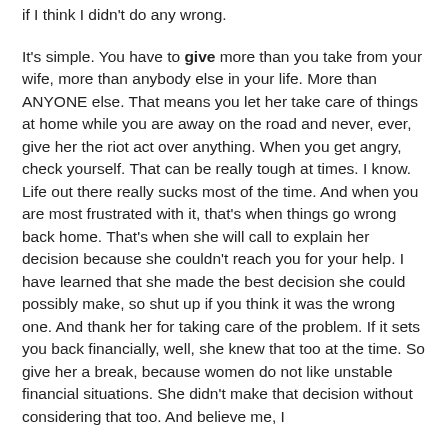if I think I didn't do any wrong.
It's simple.  You have to give more than you take from your wife, more than anybody else in your life.  More than ANYONE else.  That means you let her take care of things at home while you are away on the road and never, ever, give her the riot act over anything.  When you get angry, check yourself.  That can be really tough at times.  I know.  Life out there really sucks most of the time.  And when you are most frustrated with it, that's when things go wrong back home.  That's when she will call to explain her decision because she couldn't reach you for your help.  I have learned that she made the best decision she could possibly make, so shut up if you think it was the wrong one.  And thank her for taking care of the problem.  If it sets you back financially, well, she knew that too at the time.  So give her a break, because women do not like unstable financial situations.  She didn't make that decision without considering that too.  And believe me, I